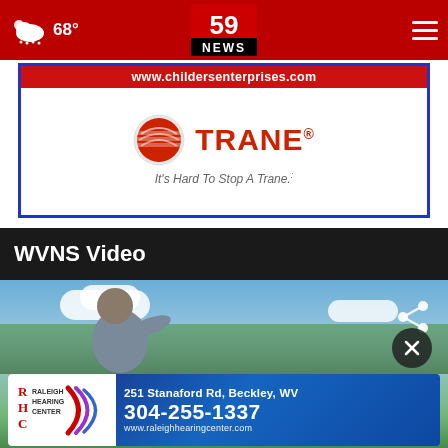59 NEWS — 68°
[Figure (screenshot): Childers Enterprises / Trane advertisement banner with Trane logo and tagline 'It's Hard To Stop A Trane.']
WVNS Video
[Figure (screenshot): Video frame showing a person viewed from behind throwing a frisbee or ball in an outdoor field with blue sky and clouds; share icon in top right; close (X) button at bottom right]
[Figure (screenshot): Raleigh Hearing Center advertisement: 251 Stanaford Rd, Beckley, WV — 304-255-1337 — www.raleighhearingcenter.com]